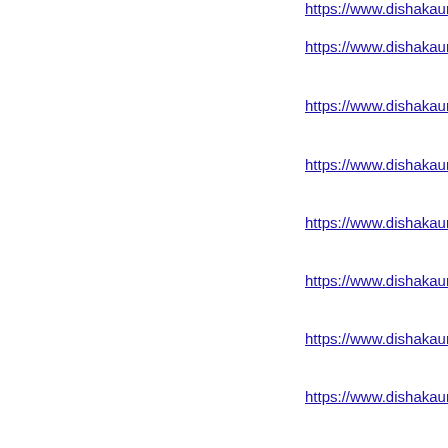https://www.dishakaur.com/air-hostess-escorts.ht
https://www.dishakaur.com/foreigner-escorts-in-pu
https://www.dishakaur.com/busty-escorts.html
https://www.dishakaur.com/dating-escorts.html
https://www.dishakaur.com/elite-escorts.html
https://www.dishakaur.com/mature-escorts.html
https://www.dishakaur.com/naughty-escorts.html
https://www.dishakaur.com/night-club-escorts.htm
https://www.dishakaur.com/young-escorts.html
https://www.dishakaur.com/belapur-escorts.html
https://www.dishakaur.com/mumbai-central-escort
https://www.dishakaur.com/mira-road-escorts.htm
https://www.dishakaur.com/lokhandwala-escorts.h
https://www.dishakaur.com/ghatkopar-escorts.htm
https://www.dishakaur.com/kurla-escorts.html
https://www.dishakaur.com/malad-escorts.html
https://www.dishakaur.com/mumbai-airport-escort
https://www.dishakaur.com/dadar-escorts.html
https://www.dishakaur.com/thane-escorts.html